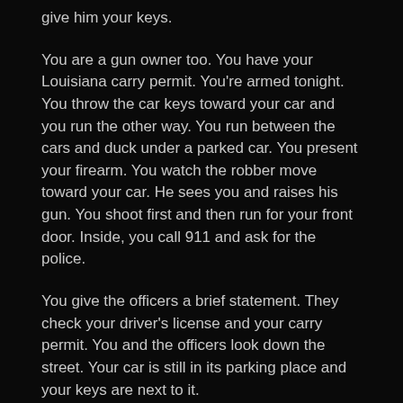give him your keys.
You are a gun owner too. You have your Louisiana carry permit. You're armed tonight. You throw the car keys toward your car and you run the other way. You run between the cars and duck under a parked car. You present your firearm. You watch the robber move toward your car. He sees you and raises his gun. You shoot first and then run for your front door. Inside, you call 911 and ask for the police.
You give the officers a brief statement. They check your driver's license and your carry permit. You and the officers look down the street. Your car is still in its parking place and your keys are next to it.
Police arrest your attackers at the local hospital. Your robber is unconscious with a bullet wound in his neck. The police